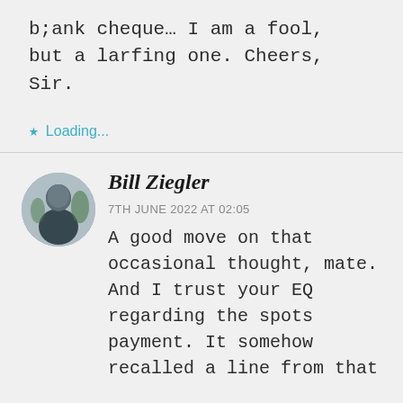b;ank cheque… I am a fool, but a larfing one. Cheers, Sir.
★ Loading...
Bill Ziegler
7TH JUNE 2022 AT 02:05
A good move on that occasional thought, mate. And I trust your EQ regarding the spots payment. It somehow recalled a line from that